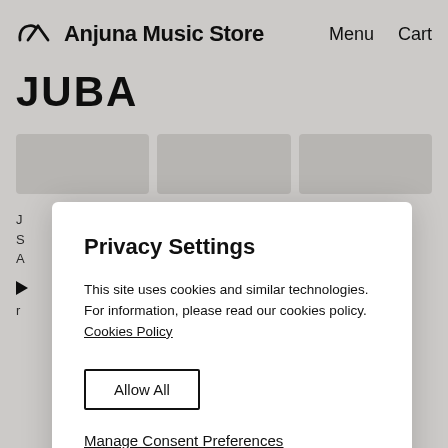Anjuna Music Store
Menu   Cart
JUBA
Privacy Settings
This site uses cookies and similar technologies. For information, please read our cookies policy. Cookies Policy
Allow All
Manage Consent Preferences